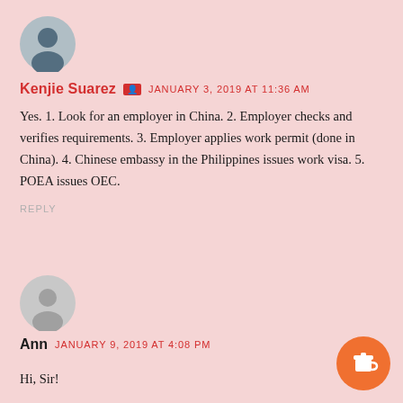[Figure (illustration): User avatar photo showing a person silhouette with dark background]
Kenjie Suarez  [icon]  JANUARY 3, 2019 AT 11:36 AM
Yes. 1. Look for an employer in China. 2. Employer checks and verifies requirements. 3. Employer applies work permit (done in China). 4. Chinese embassy in the Philippines issues work visa. 5. POEA issues OEC.
REPLY
[Figure (illustration): Generic user avatar silhouette in gray circle]
Ann  JANUARY 9, 2019 AT 4:08 PM
Hi, Sir!
[Figure (illustration): Orange circular button with coffee cup icon]